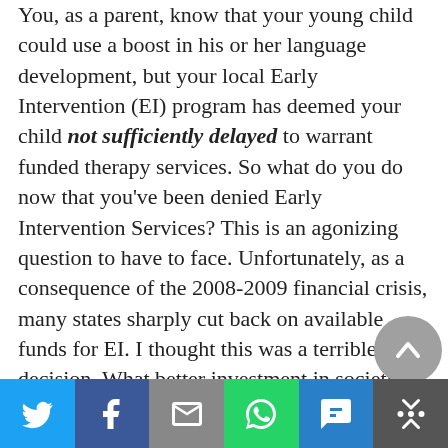You, as a parent, know that your young child could use a boost in his or her language development, but your local Early Intervention (EI) program has deemed your child not sufficiently delayed to warrant funded therapy services. So what do you do now that you've been denied Early Intervention Services? This is an agonizing question to have to face. Unfortunately, as a consequence of the 2008-2009 financial crisis, many states sharply cut back on available funds for EI. I thought this was a terrible decision. What better investment in society is there than in the very young? And the research is strong and clear: intervening early in a child's development can have an outsized impact on their overall
Social sharing bar: Twitter, Facebook, Email, WhatsApp, SMS, More